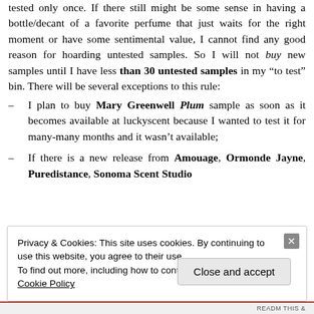tested only once. If there still might be some sense in having a bottle/decant of a favorite perfume that just waits for the right moment or have some sentimental value, I cannot find any good reason for hoarding untested samples. So I will not buy new samples until I have less than 30 untested samples in my “to test” bin. There will be several exceptions to this rule:
– I plan to buy Mary Greenwell Plum sample as soon as it becomes available at luckyscent because I wanted to test it for many-many months and it wasn’t available;
– If there is a new release from Amouage, Ormonde Jayne, Puredistance, Sonoma Scent Studio
Privacy & Cookies: This site uses cookies. By continuing to use this website, you agree to their use.
To find out more, including how to control cookies, see here: Cookie Policy